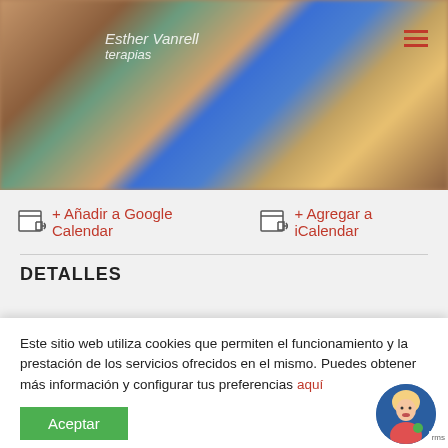[Figure (photo): Blurred group photo of people in a room, with text overlay 'Esther Vanrell terapias' and hamburger menu icon in top right]
+ Añadir a Google Calendar
+ Agregar a iCalendar
DETALLES
Este sitio web utiliza cookies que permiten el funcionamiento y la prestación de los servicios ofrecidos en el mismo. Puedes obtener más información y configurar tus preferencias aquí
Aceptar